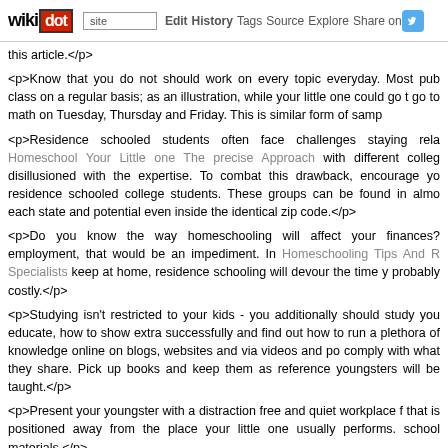wikidot | site Edit History Tags Source Explore Share on Twitter
this article.</p>
<p>Know that you do not should work on every topic everyday. Most pub class on a regular basis; as an illustration, while your little one could go t go to math on Tuesday, Thursday and Friday. This is similar form of samp
<p>Residence schooled students often face challenges staying rela Homeschool Your Little one The precise Approach with different colleg disillusioned with the expertise. To combat this drawback, encourage yo residence schooled college students. These groups can be found in almo each state and potential even inside the identical zip code.</p>
<p>Do you know the way homeschooling will affect your finances? employment, that would be an impediment. In Homeschooling Tips And R Specialists keep at home, residence schooling will devour the time y probably costly.</p>
<p>Studying isn't restricted to your kids - you additionally should study you educate, how to show extra successfully and find out how to run a plethora of knowledge online on blogs, websites and via videos and po comply with what they share. Pick up books and keep them as reference youngsters will be taught.</p>
<p>Present your youngster with a distraction free and quiet workplace f that is positioned away from the place your little one usually performs. school materials.</p>
<p>In case you ultimately plan to switch your kids again into a daily